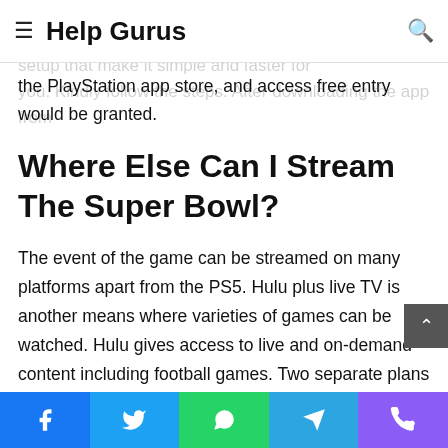≡  Help Gurus  🔍
slim, do I say slime? Oh yes, you would go through some setup that make it simple and faster for you. Kindly follow the steps. After downloading the app from the PlayStation app store, and access free entry would be granted.
Where Else Can I Stream The Super Bowl?
The event of the game can be streamed on many platforms apart from the PS5. Hulu plus live TV is another means where varieties of games can be watched. Hulu gives access to live and on-demand content including football games. Two separate plans are available to access Live TV on Hulu which are ad-supported and ad-free. The costs of those two plans are $65/month and $72/month.
Facebook | Twitter | WhatsApp | Telegram | Phone